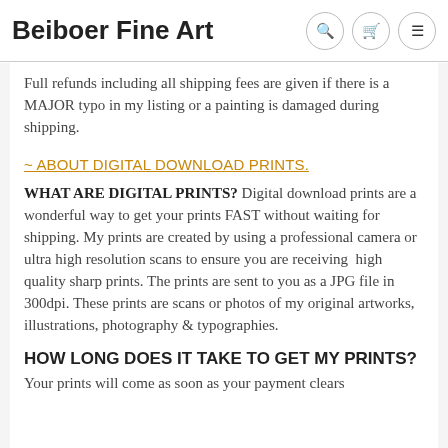Beiboer Fine Art
Full refunds including all shipping fees are given if there is a MAJOR typo in my listing or a painting is damaged during shipping.
~ ABOUT DIGITAL DOWNLOAD PRINTS.
WHAT ARE DIGITAL PRINTS? Digital download prints are a wonderful way to get your prints FAST without waiting for shipping. My prints are created by using a professional camera or ultra high resolution scans to ensure you are receiving  high quality sharp prints. The prints are sent to you as a JPG file in 300dpi. These prints are scans or photos of my original artworks, illustrations, photography & typographies.
HOW LONG DOES IT TAKE TO GET MY PRINTS?
Your prints will come as soon as your payment clears